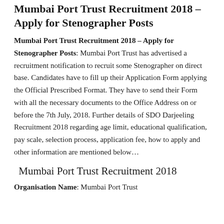Mumbai Port Trust Recruitment 2018 – Apply for Stenographer Posts
Mumbai Port Trust Recruitment 2018 – Apply for Stenographer Posts: Mumbai Port Trust has advertised a recruitment notification to recruit some Stenographer on direct base. Candidates have to fill up their Application Form applying the Official Prescribed Format. They have to send their Form with all the necessary documents to the Office Address on or before the 7th July, 2018. Further details of SDO Darjeeling Recruitment 2018 regarding age limit, educational qualification, pay scale, selection process, application fee, how to apply and other information are mentioned below…
Mumbai Port Trust Recruitment 2018
Organisation Name: Mumbai Port Trust